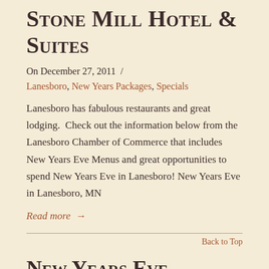Stone Mill Hotel & Suites
On December 27, 2011  /
Lanesboro, New Years Packages, Specials
Lanesboro has fabulous restaurants and great lodging.  Check out the information below from the Lanesboro Chamber of Commerce that includes New Years Eve Menus and great opportunities to spend New Years Eve in Lanesboro! New Years Eve in Lanesboro, MN
Read more →
Back to Top
New Years Eve